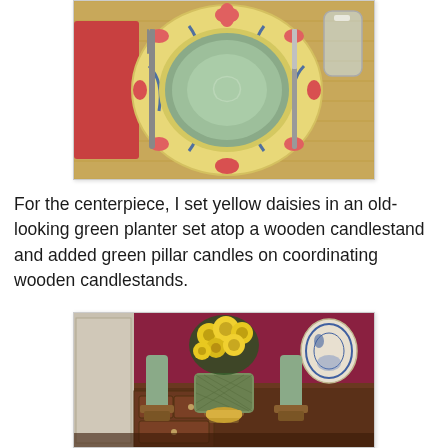[Figure (photo): Top-down view of a table place setting with a decorated plate featuring floral/daisy motifs in red and blue on a tan background, a green bowl on top, silverware (fork on left, knife on right), a glass of water, and a red napkin, all on a bamboo placemat.]
For the centerpiece, I set yellow daisies in an old-looking green planter set atop a wooden candlestand and added green pillar candles on coordinating wooden candlestands.
[Figure (photo): A dining table centerpiece showing yellow daisies in a green decorative planter on a wooden candlestand, with two green pillar candles on wooden candlestands on either side, against a dark red/maroon wall with a wooden sideboard and blue and white decorative plates in the background.]